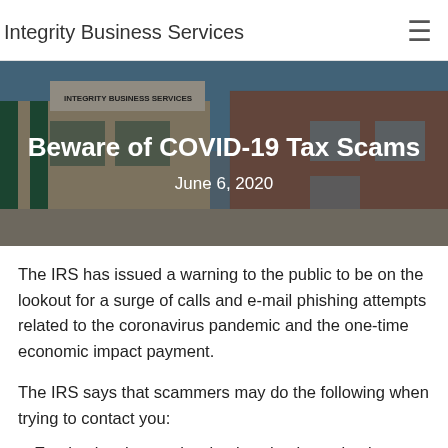Integrity Business Services
[Figure (photo): Exterior photo of an Integrity Business Services storefront building with brick and white siding, blue sky background. Overlaid with the article title 'Beware of COVID-19 Tax Scams' and date 'June 6, 2020'.]
Beware of COVID-19 Tax Scams
June 6, 2020
The IRS has issued a warning to the public to be on the lookout for a surge of calls and e-mail phishing attempts related to the coronavirus pandemic and the one-time economic impact payment.
The IRS says that scammers may do the following when trying to contact you:
Emphasize the words stimulus check or stimulus